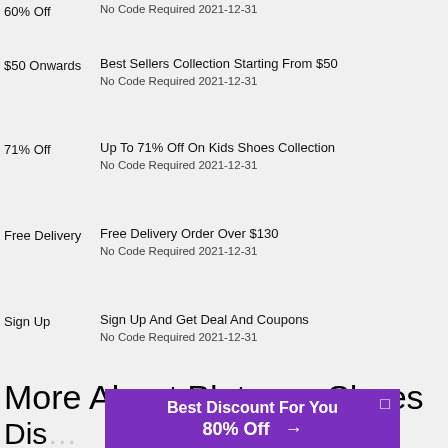60% Off
No Code Required 2021-12-31
Best Sellers Collection Starting From $50
$50 Onwards
No Code Required 2021-12-31
Up To 71% Off On Kids Shoes Collection
71% Off
No Code Required 2021-12-31
Free Delivery Order Over $130
Free Delivery
No Code Required 2021-12-31
Sign Up And Get Deal And Coupons
Sign Up
No Code Required 2021-12-31
More About Platypus Shoes Dis... You...
Best Discount For You
80% Off →